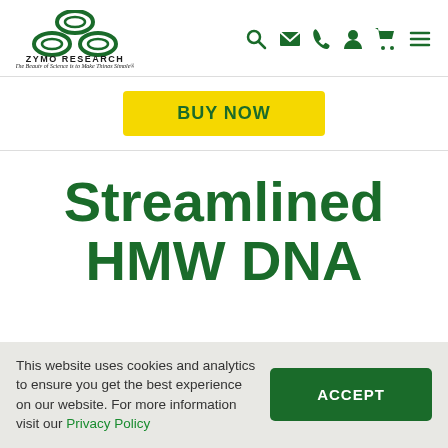[Figure (logo): Zymo Research logo with three oval shapes arranged in a triangle pattern, company name ZYMO RESEARCH and tagline 'The Beauty of Science is to Make Things Simple']
[Figure (infographic): Navigation icons: search magnifier, envelope, phone, user/account, shopping cart, hamburger menu - all in dark green]
BUY NOW
Streamlined HMW DNA
This website uses cookies and analytics to ensure you get the best experience on our website. For more information visit our Privacy Policy
ACCEPT